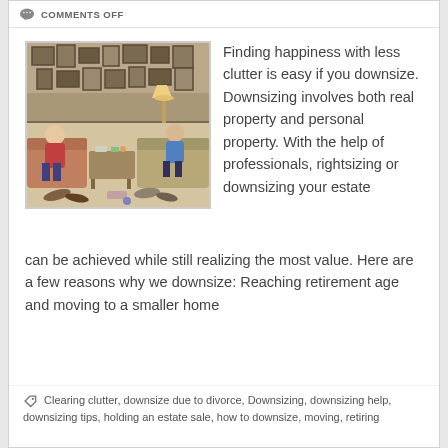COMMENTS OFF
[Figure (photo): Cluttered living room with two people sitting, walls covered in framed pictures, lamp, couch, coffee table with items on it, shoes on floor]
Finding happiness with less clutter is easy if you downsize. Downsizing involves both real property and personal property. With the help of professionals, rightsizing or downsizing your estate can be achieved while still realizing the most value. Here are a few reasons why we downsize: Reaching retirement age and moving to a smaller home
Clearing clutter, downsize due to divorce, Downsizing, downsizing help, downsizing tips, holding an estate sale, how to downsize, moving, retiring